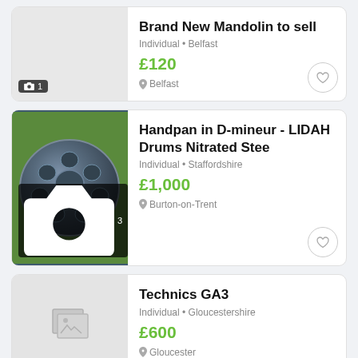Brand New Mandolin to sell
Individual • Belfast
£120
Belfast
[Figure (photo): No image shown, photo count badge showing camera icon and 1]
Handpan in D-mineur - LIDAH Drums Nitrated Stee
Individual • Staffordshire
£1,000
Burton-on-Trent
[Figure (photo): Photo of a handpan drum (D-mineur, nitrated steel) resting on grass, dark metallic blue-grey color with indentations, photo count badge showing camera icon and 3]
Technics GA3
Individual • Gloucestershire
£600
Gloucester